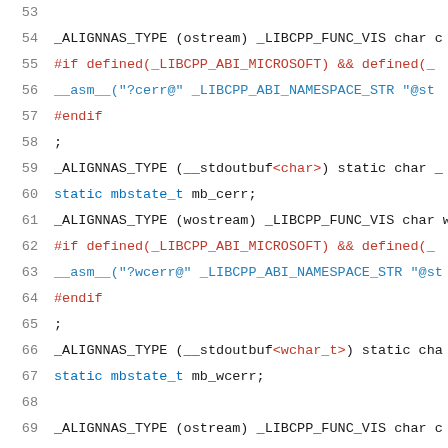[Figure (screenshot): Source code listing in C++ showing lines 53-74, featuring _ALIGNAS_TYPE macros, preprocessor directives, __asm__ statements, and static variable declarations related to cerr, wcerr, and clog streams from libcpp.]